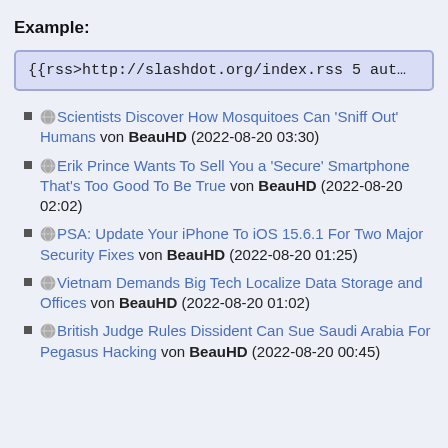Example:
{{rss>http://slashdot.org/index.rss 5 auth
Scientists Discover How Mosquitoes Can 'Sniff Out' Humans von BeauHD (2022-08-20 03:30)
Erik Prince Wants To Sell You a 'Secure' Smartphone That's Too Good To Be True von BeauHD (2022-08-20 02:02)
PSA: Update Your iPhone To iOS 15.6.1 For Two Major Security Fixes von BeauHD (2022-08-20 01:25)
Vietnam Demands Big Tech Localize Data Storage and Offices von BeauHD (2022-08-20 01:02)
British Judge Rules Dissident Can Sue Saudi Arabia For Pegasus Hacking von BeauHD (2022-08-20 00:45)